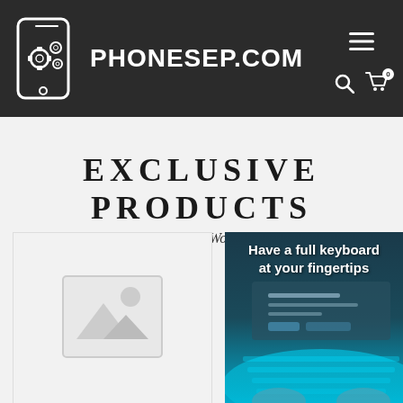[Figure (logo): PhonesEP.com logo with smartphone and gear icons on dark background header, with hamburger menu, search and cart icons]
EXCLUSIVE PRODUCTS
Smartphones on sale - Worldwide Shipping
[Figure (photo): Placeholder image with mountain and sun icon]
[Figure (photo): Product image with text: Have a full keyboard at your fingertips, showing glowing keyboard]